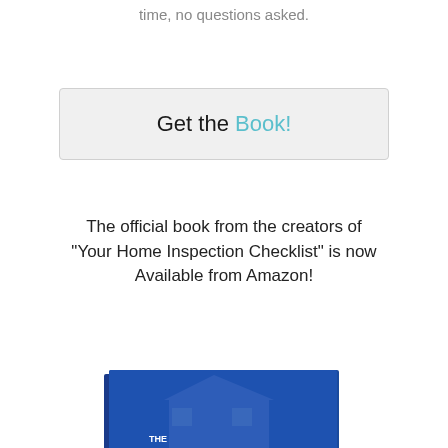time, no questions asked.
Get the Book!
The official book from the creators of "Your Home Inspection Checklist" is now Available from Amazon!
[Figure (photo): Book cover for 'The Home Inspection Guide for Do-It-Yourself Home Buyers' with blue cover, house image, thumbnail photos at bottom, and text 'OVER 650 FULL COLOR PHOTOS!']